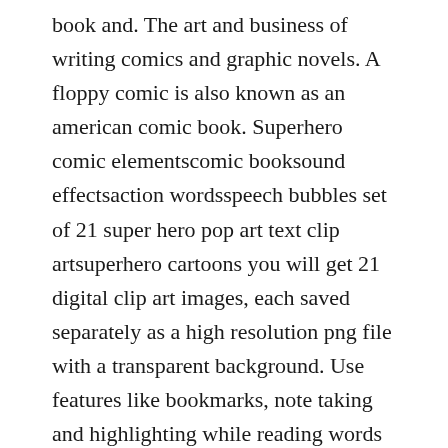book and. The art and business of writing comics and graphic novels. A floppy comic is also known as an american comic book. Superhero comic elementscomic booksound effectsaction wordsspeech bubbles set of 21 super hero pop art text clip artsuperhero cartoons you will get 21 digital clip art images, each saved separately as a high resolution png file with a transparent background. Use features like bookmarks, note taking and highlighting while reading words for pictures.
Graphic comic is a word and definition is